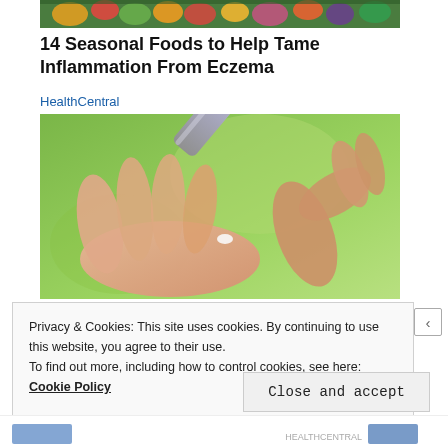[Figure (photo): Colorful seasonal fruits and vegetables arranged at the top of the page including kiwi, oranges, grapefruit, broccoli, eggplant]
14 Seasonal Foods to Help Tame Inflammation From Eczema
HealthCentral
[Figure (photo): Close-up photo of a hand holding a cream tube squeezing out cream onto a palm, with a green blurred background]
Privacy & Cookies: This site uses cookies. By continuing to use this website, you agree to their use.
To find out more, including how to control cookies, see here: Cookie Policy
Close and accept